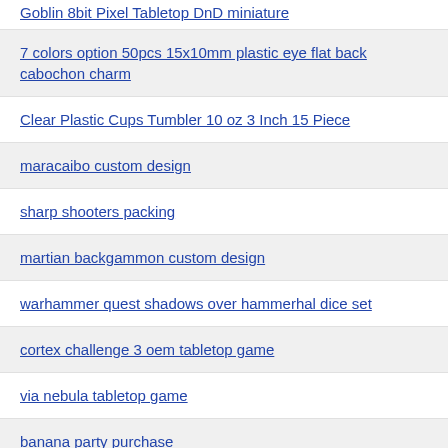Goblin 8bit Pixel Tabletop DnD miniature
7 colors option 50pcs 15x10mm plastic eye flat back cabochon charm
Clear Plastic Cups Tumbler 10 oz 3 Inch 15 Piece
maracaibo custom design
sharp shooters packing
martian backgammon custom design
warhammer quest shadows over hammerhal dice set
cortex challenge 3 oem tabletop game
via nebula tabletop game
banana party purchase
flix mix oem tabletop game
starfire ii puzzle game